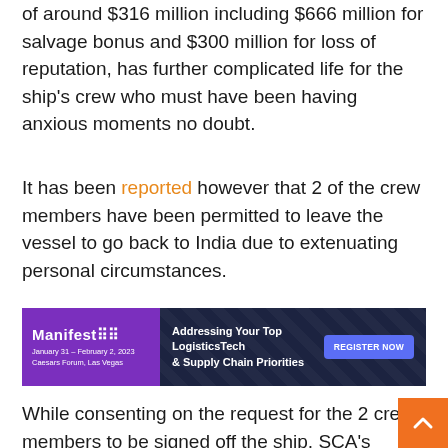of around $316 million including $666 million for salvage bonus and $300 million for loss of reputation, has further complicated life for the ship's crew who must have been having anxious moments no doubt.
It has been reported however that 2 of the crew members have been permitted to leave the vessel to go back to India due to extenuating personal circumstances.
[Figure (infographic): Manifest conference advertisement banner: 'Addressing Your Top LogisticsTech & Supply Chain Priorities' with Register Now button, January 31 - February 2, 2023, Caesars Forum, Las Vegas]
While consenting on the request for the 2 crew members to be signed off the ship, SCA's